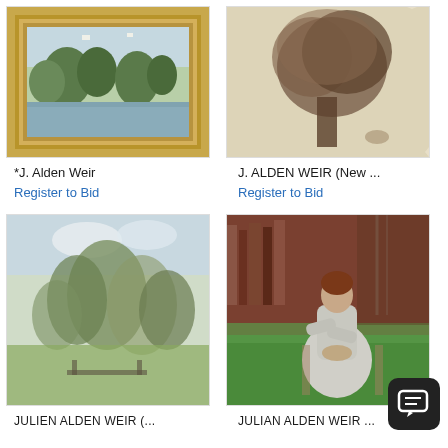[Figure (photo): Landscape painting in gold ornate frame showing river and trees]
[Figure (photo): Sepia sketch/drawing of a large tree on aged paper]
*J. Alden Weir
J. ALDEN WEIR (New ...
Register to Bid
Register to Bid
[Figure (photo): Impressionist painting of trees and meadow landscape in muted greens]
[Figure (photo): Portrait of a seated woman in white dress outdoors on grass]
JULIEN ALDEN WEIR (...
JULIAN ALDEN WEIR ...